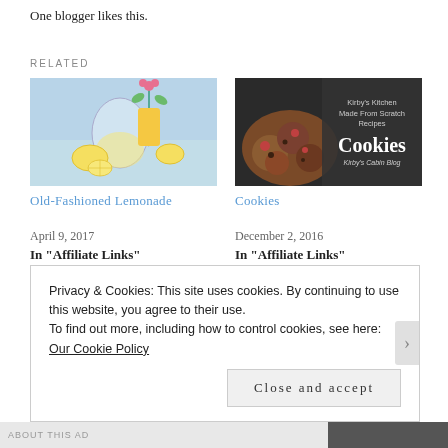One blogger likes this.
RELATED
[Figure (photo): Photo of lemonade pitcher and lemons on a blue table outdoors]
Old-Fashioned Lemonade
April 9, 2017
In "Affiliate Links"
[Figure (photo): Cookies photo with dark background overlay showing Kirby's Kitchen Made From Scratch Recipes Cookies Kirby's Cabin Blog]
Cookies
December 2, 2016
In "Affiliate Links"
Clean kids' glasses
Clean and fill water bottles
Privacy & Cookies: This site uses cookies. By continuing to use this website, you agree to their use.
To find out more, including how to control cookies, see here: Our Cookie Policy
Close and accept